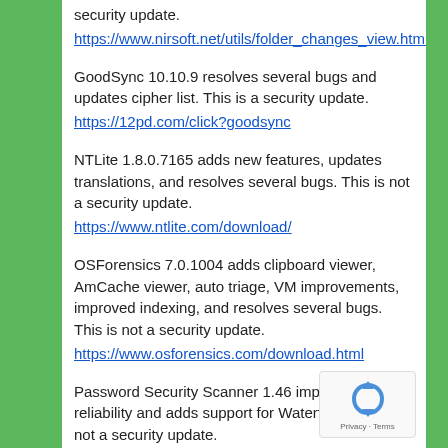security update.
https://www.nirsoft.net/utils/folder_changes_view.html
GoodSync 10.10.9 resolves several bugs and updates cipher list. This is a security update.
https://12pd.com/click?goodsync
NTLite 1.8.0.7165 adds new features, updates translations, and resolves several bugs. This is not a security update.
https://www.ntlite.com/download/
OSForensics 7.0.1004 adds clipboard viewer, AmCache viewer, auto triage, VM improvements, improved indexing, and resolves several bugs. This is not a security update.
https://www.osforensics.com/download.html
Password Security Scanner 1.46 improves reliability and adds support for Waterfox. This is not a security update.
https://www.nirsoft.net/utils/password_security_scanner.
Recover Keys 11.0.4.233 adds support for over 1,000